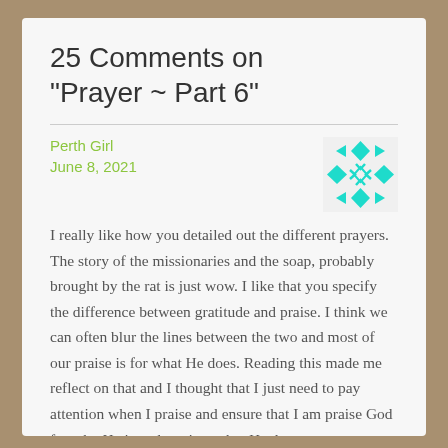25 Comments on “Prayer ~ Part 6”
Perth Girl
June 8, 2021
[Figure (illustration): Geometric teal/cyan decorative avatar icon with diamond and arrow pattern arranged in a square formation]
I really like how you detailed out the different prayers. The story of the missionaries and the soap, probably brought by the rat is just wow. I like that you specify the difference between gratitude and praise. I think we can often blur the lines between the two and most of our praise is for what He does. Reading this made me reflect on that and I thought that I just need to pay attention when I praise and ensure that I am praise God for who He is and not just what He does.